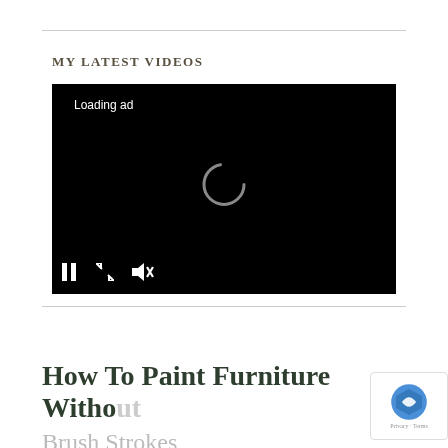MY LATEST VIDEOS
[Figure (screenshot): Video player with black background showing 'Loading ad' text and a loading spinner, with playback controls at the bottom (pause button, expand button, mute button)]
How To Paint Furniture Without Brush Strokes